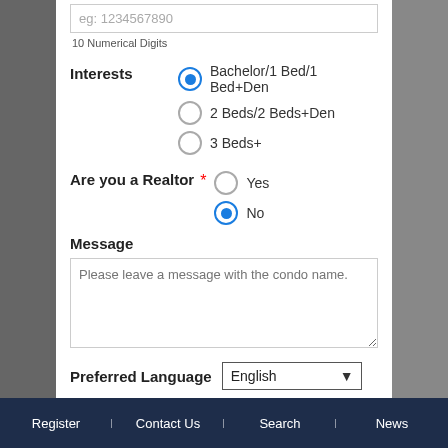eg: 1234567890
10 Numerical Digits
Interests  Bachelor/1 Bed/1 Bed+Den  2 Beds/2 Beds+Den  3 Beds+
Are you a Realtor * Yes No
Message
Please leave a message with the condo name.
Preferred Language  English
SUBMIT
Register  Contact Us  Search  News